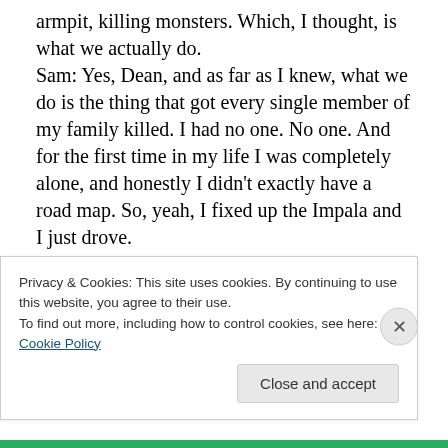armpit, killing monsters. Which, I thought, is what we actually do.
Sam: Yes, Dean, and as far as I knew, what we do is the thing that got every single member of my family killed. I had no one. No one. And for the first time in my life I was completely alone, and honestly I didn't exactly have a road map. So, yeah, I fixed up the Impala and I just drove.
Dean: After you looked for me. Did you look for me, Sam?
Sam: …
Dean: Good. That's good. No, we always told each other not to look for each other. That's smart. good for you. Of
Privacy & Cookies: This site uses cookies. By continuing to use this website, you agree to their use.
To find out more, including how to control cookies, see here: Cookie Policy